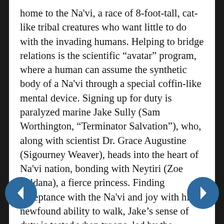home to the Na'vi, a race of 8-foot-tall, cat-like tribal creatures who want little to do with the invading humans. Helping to bridge relations is the scientific “avatar” program, where a human can assume the synthetic body of a Na'vi through a special coffin-like mental device. Signing up for duty is paralyzed marine Jake Sully (Sam Worthington, “Terminator Salvation”), who, along with scientist Dr. Grace Augustine (Sigourney Weaver), heads into the heart of Na'vi nation, bonding with Neytiri (Zoe Saldana), a fierce princess. Finding acceptance with the Na'vi and joy with his newfound ability to walk, Jake’s sense of duty is tested when troops, led by the wicked Colonel Miles Quaritch (Stephen Lang), head in for the kill, hungry to clear the Na'vi out of their forest home and